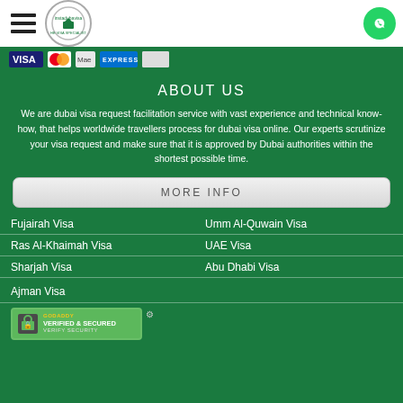Navigation header with hamburger menu, logo, and WhatsApp button
[Figure (logo): Payment method icons: Visa, Mastercard, Maestro, American Express]
ABOUT US
We are dubai visa request facilitation service with vast experience and technical know-how, that helps worldwide travellers process for dubai visa online. Our experts scrutinize your visa request and make sure that it is approved by Dubai authorities within the shortest possible time.
MORE INFO
Fujairah Visa
Umm Al-Quwain Visa
Ras Al-Khaimah Visa
UAE Visa
Sharjah Visa
Abu Dhabi Visa
Ajman Visa
[Figure (logo): GoDaddy Verified & Secured badge]